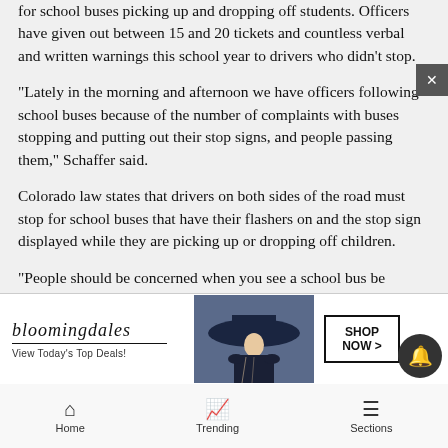for school buses picking up and dropping off students. Officers have given out between 15 and 20 tickets and countless verbal and written warnings this school year to drivers who didn't stop.
“Lately in the morning and afternoon we have officers following school buses because of the number of complaints with buses stopping and putting out their stop signs, and people passing them,” Schaffer said.
Colorado law states that drivers on both sides of the road must stop for school buses that have their flashers on and the stop sign displayed while they are picking up or dropping off children.
“People should be concerned when you see a school bus be... that co...
[Figure (advertisement): Bloomingdales ad: 'bloomingdales View Today’s Top Deals!' with image of woman in wide-brim hat and 'SHOP NOW >' button]
Home   Trending   Sections